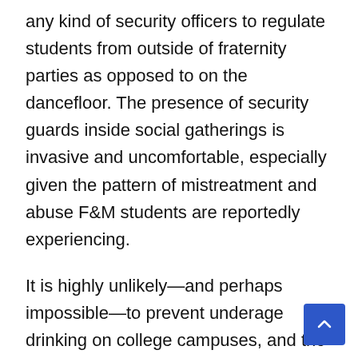any kind of security officers to regulate students from outside of fraternity parties as opposed to on the dancefloor. The presence of security guards inside social gatherings is invasive and uncomfortable, especially given the pattern of mistreatment and abuse F&M students are reportedly experiencing.
It is highly unlikely—and perhaps impossible—to prevent underage drinking on college campuses, and the current policies at F&M are not conducive to safe drinking practices. The number of hospitalizations has spiked as a direct consequence of these untenable policies. We are extremely concerned that this situation will only get worse, and that the eventual consequences will be even more severe. Our